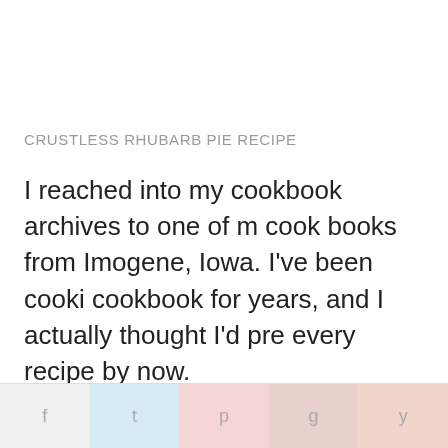CRUSTLESS RHUBARB PIE RECIPE
I reached into my cookbook archives to one of my cook books from Imogene, Iowa. I've been cooking cookbook for years, and I actually thought I'd pre every recipe by now.
But then, I spotted this gem called No-Crust Rhu